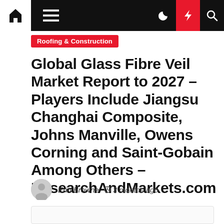Navigation bar with home, menu, dark mode, lightning/flash, and search icons
Roofing & Construction
Global Glass Fibre Veil Market Report to 2027 – Players Include Jiangsu Changhai Composite, Johns Manville, Owens Corning and Saint-Gobain Among Others – ResearchAndMarkets.com
Erin Browne  3 months ago